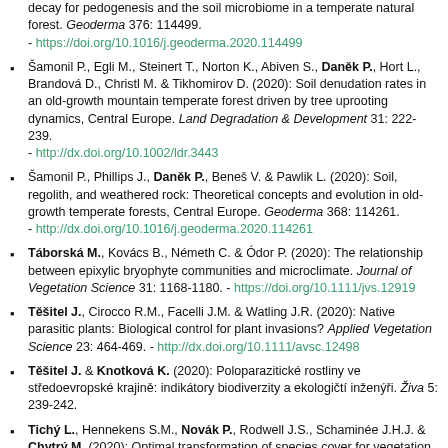decay for pedogenesis and the soil microbiome in a temperate natural forest. Geoderma 376: 114499. - https://doi.org/10.1016/j.geoderma.2020.114499
Šamonil P., Egli M., Steinert T., Norton K., Abiven S., Daněk P., Hort L., Brandová D., Christl M. & Tikhomirov D. (2020): Soil denudation rates in an old-growth mountain temperate forest driven by tree uprooting dynamics, Central Europe. Land Degradation & Development 31: 222-239. - http://dx.doi.org/10.1002/ldr.3443
Šamonil P., Phillips J., Daněk P., Beneš V. & Pawlik L. (2020): Soil, regolith, and weathered rock: Theoretical concepts and evolution in old-growth temperate forests, Central Europe. Geoderma 368: 114261. - http://dx.doi.org/10.1016/j.geoderma.2020.114261
Táborská M., Kovács B., Németh C. & Ódor P. (2020): The relationship between epixylic bryophyte communities and microclimate. Journal of Vegetation Science 31: 1168-1180. - https://doi.org/10.1111/jvs.12919
Těšitel J., Cirocco R.M., Facelli J.M. & Watling J.R. (2020): Native parasitic plants: Biological control for plant invasions? Applied Vegetation Science 23: 464-469. - http://dx.doi.org/10.1111/avsc.12498
Těšitel J. & Knotková K. (2020): Poloparazitické rostliny ve středoevropské krajině: indikátory biodiverzity a ekologičtí inženýři. Živa 5: 239-242.
Tichý L., Hennekens S.M., Novák P., Rodwell J.S., Schaminée J.H.J. & Chytrý M. (2020): Optimal transformation of species cover for vegetation classification. Applied Vegetation Science 23: 710-717. - https://doi.org/10.1111/avsc.12510